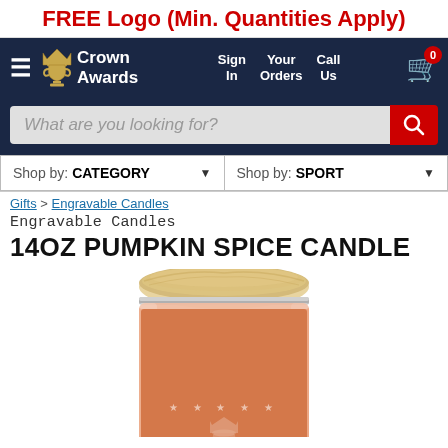FREE Logo (Min. Quantities Apply)
[Figure (screenshot): Crown Awards website navigation bar with logo, Sign In, Your Orders, Call Us, and cart icon with badge showing 0]
What are you looking for?
Shop by: CATEGORY  ▼   Shop by: SPORT  ▼
Gifts > Engravable Candles
Engravable Candles
14OZ PUMPKIN SPICE CANDLE
[Figure (photo): Close-up photo of a 14oz pumpkin spice candle in a glass jar with a wooden/fabric lid, showing an orange wax with a decorative engraved logo on the front]